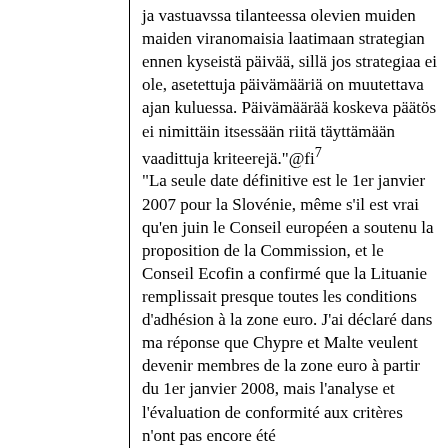ja vastuavssa tilanteessa olevien muiden maiden viranomaisia laatimaan strategian ennen kyseistä päivää, sillä jos strategiaa ei ole, asetettuja päivämääriä on muutettava ajan kuluessa. Päivämäärää koskeva päätös ei nimittäin itsessään riitä täyttämään vaadittuja kriteerejä."@fi⁷
"La seule date définitive est le 1er janvier 2007 pour la Slovénie, même s'il est vrai qu'en juin le Conseil européen a soutenu la proposition de la Commission, et le Conseil Ecofin a confirmé que la Lituanie remplissait presque toutes les conditions d'adhésion à la zone euro. J'ai déclaré dans ma réponse que Chypre et Malte veulent devenir membres de la zone euro à partir du 1er janvier 2008, mais l'analyse et l'évaluation de conformité aux critères n'ont pas encore été